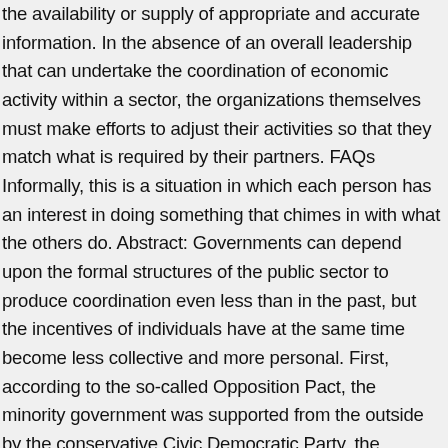the availability or supply of appropriate and accurate information. In the absence of an overall leadership that can undertake the coordination of economic activity within a sector, the organizations themselves must make efforts to adjust their activities so that they match what is required by their partners. FAQs Informally, this is a situation in which each person has an interest in doing something that chimes in with what the others do. Abstract: Governments can depend upon the formal structures of the public sector to produce coordination even less than in the past, but the incentives of individuals have at the same time become less collective and more personal. First, according to the so-called Opposition Pact, the minority government was supported from the outside by the conservative Civic Democratic Party, the principal opponent of the Social Democrats in the party system. Role of Government and the Problems Faced in protecting our environment. For example, if one firm decides a recession is imminent and fires its workers, other firms might lose demand from th... When a supplier publishes